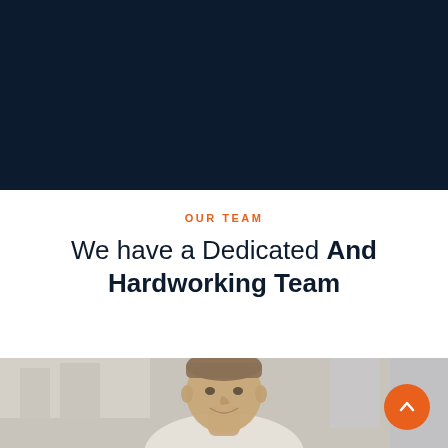[Figure (photo): Dark navy blue banner/hero image background at top of page]
OUR TEAM
We have a Dedicated And Hardworking Team
[Figure (photo): Photograph of a man with short brown hair, smiling, wearing a light-colored shirt, photographed outdoors with blurred urban background. An orange circular scroll-to-top button with an upward chevron arrow is overlaid in the bottom-right corner.]